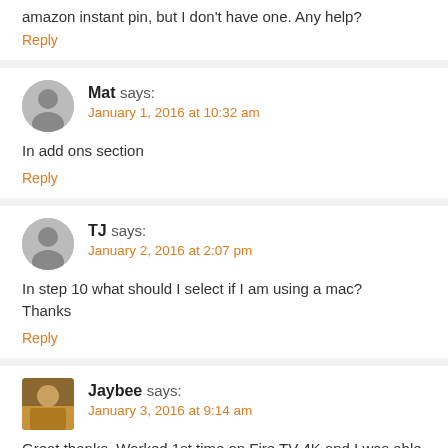amazon instant pin, but I don't have one. Any help?
Reply
Mat says:
January 1, 2016 at 10:32 am
In add ons section
Reply
TJ says:
January 2, 2016 at 2:07 pm
In step 10 what should I select if I am using a mac?
Thanks
Reply
Jaybee says:
January 3, 2016 at 9:14 am
Great thanks. Worked 1st time on Fire TV 4K and I was able to scroll down and install kodi 14.2.